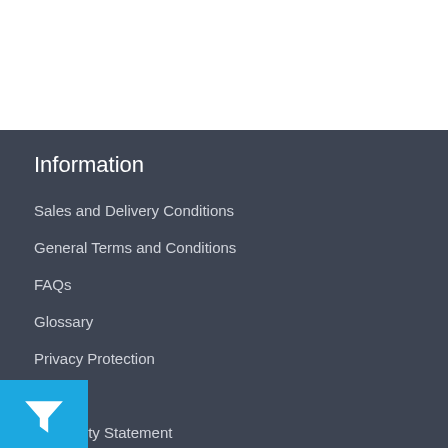Information
Sales and Delivery Conditions
General Terms and Conditions
FAQs
Glossary
Privacy Protection
Imprint
Capability Statement
Contact
Address: